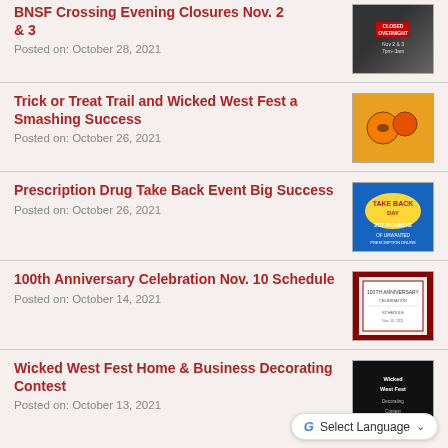BNSF Crossing Evening Closures Nov. 2 & 3
Posted on: October 28, 2021
Trick or Treat Trail and Wicked West Fest a Smashing Success
Posted on: October 26, 2021
Prescription Drug Take Back Event Big Success
Posted on: October 26, 2021
100th Anniversary Celebration Nov. 10 Schedule
Posted on: October 14, 2021
Wicked West Fest Home & Business Decorating Contest
Posted on: October 13, 2021